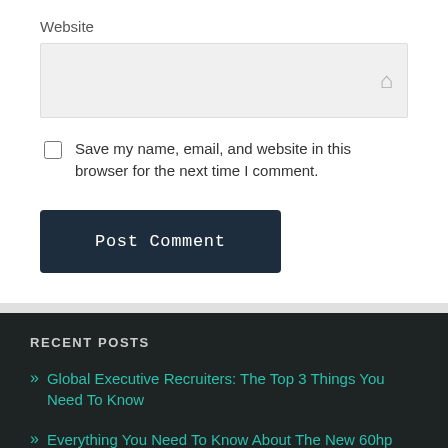Website
Save my name, email, and website in this browser for the next time I comment.
Post Comment
RECENT POSTS
» Global Executive Recruiters: The Top 3 Things You Need To Know
» Everything You Need To Know About The New 60hp Outboard